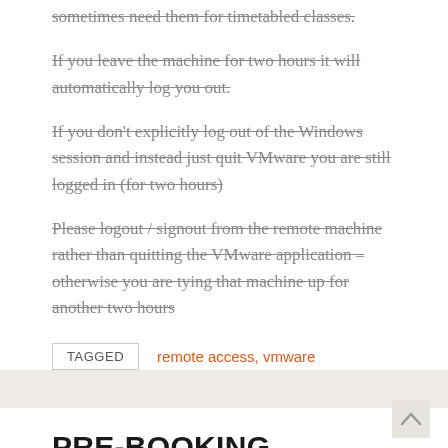sometimes need them for timetabled classes.
If you leave the machine for two hours it will automatically log you out.
If you don't explicitly log out of the Windows session and instead just quit VMware you are still logged in (for two hours)
Please logout / signout from the remote machine rather than quitting the VMware application – otherwise you are tying that machine up for another two hours
TAGGED  remote access, vmware
PRE-BOOKING SYSTEM
BY PHIL HARPER ON 31ST AUGUST 2020 • NEWS